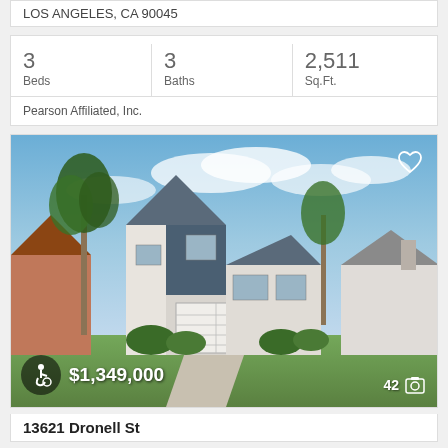LOS ANGELES, CA 90045
| Beds | Baths | Sq.Ft. |
| --- | --- | --- |
| 3 | 3 | 2,511 |
Pearson Affiliated, Inc.
[Figure (photo): Exterior photo of a two-story mid-century modern home with white and blue-grey facade, attached garage, concrete driveway, landscaped front yard with palm trees and hedges, suburban neighborhood with blue sky and clouds.]
$1,349,000
42 photos
13621 Dronell St